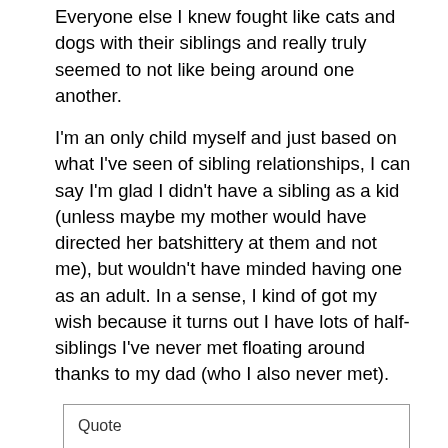Everyone else I knew fought like cats and dogs with their siblings and really truly seemed to not like being around one another.
I'm an only child myself and just based on what I've seen of sibling relationships, I can say I'm glad I didn't have a sibling as a kid (unless maybe my mother would have directed her batshittery at them and not me), but wouldn't have minded having one as an adult. In a sense, I kind of got my wish because it turns out I have lots of half-siblings I've never met floating around thanks to my dad (who I also never met).
Quote

Personally I don't know why someone would want to go through the bratty asshole toddler stage more than once. ugh. My parents are saints for not killing any of their children before age five.
I don't think they actually want to, but until someone figures out a way to stunt a child physically to remain an infant permanently, the horrible toddler stage is penance for wanting to snuggle a new baby for a few months. But it's not like these parents are gonna be surprised by it - they should know what to expect with